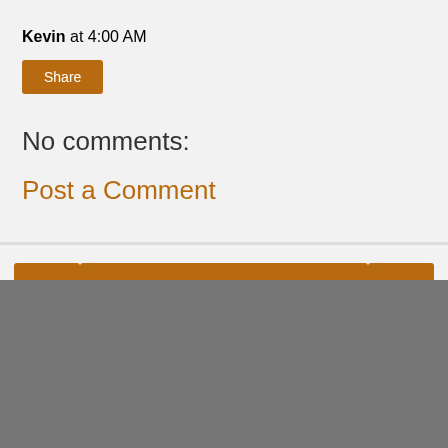Kevin at 4:00 AM
Share
No comments:
Post a Comment
Home
View web version